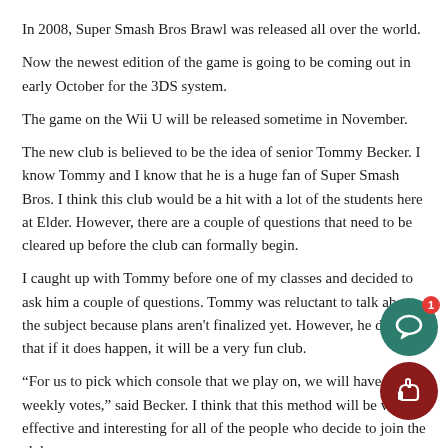In 2008, Super Smash Bros Brawl was released all over the world.
Now the newest edition of the game is going to be coming out in early October for the 3DS system.
The game on the Wii U will be released sometime in November.
The new club is believed to be the idea of senior Tommy Becker. I know Tommy and I know that he is a huge fan of Super Smash Bros. I think this club would be a hit with a lot of the students here at Elder. However, there are a couple of questions that need to be cleared up before the club can formally begin.
I caught up with Tommy before one of my classes and decided to ask him a couple of questions. Tommy was reluctant to talk about the subject because plans aren't finalized yet. However, he did say that if it does happen, it will be a very fun club.
“For us to pick which console that we play on, we will have weekly votes,” said Becker. I think that this method will be very effective and interesting for all of the people who decide to join the club.
[Figure (other): UI overlay buttons: a teal circular comment/chat button with a red badge showing '1', and a dark red circular thumbs-up button]